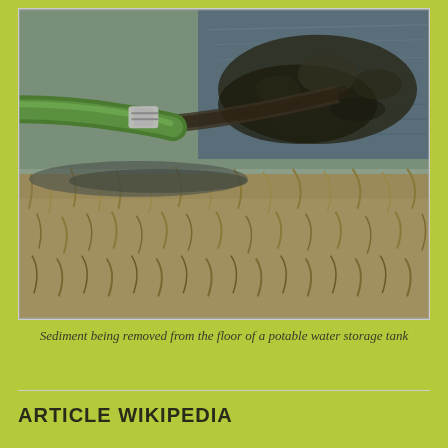[Figure (photo): A green hose discharging dark sediment-laden water onto dry grass, with a pool of dark muddy water visible. The scene shows sediment being removed from the floor of a potable water storage tank.]
Sediment being removed from the floor of a potable water storage tank
ARTICLE WIKIPEDIA